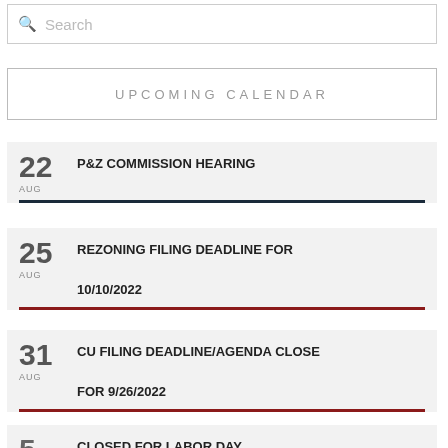Search
UPCOMING CALENDAR
22 AUG P&Z COMMISSION HEARING
25 AUG REZONING FILING DEADLINE FOR 10/10/2022
31 AUG CU FILING DEADLINE/AGENDA CLOSE FOR 9/26/2022
5 SEP CLOSED FOR LABOR DAY